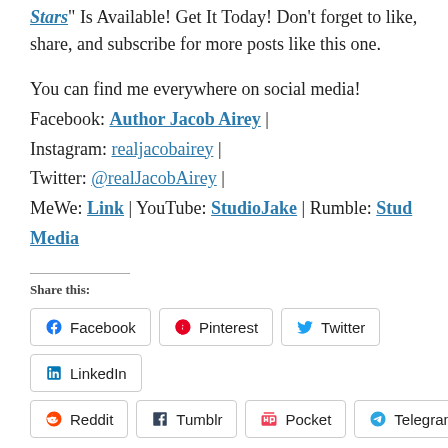Stars" Is Available! Get It Today! Don't forget to like, share, and subscribe for more posts like this one.
You can find me everywhere on social media! Facebook: Author Jacob Airey | Instagram: realjacobairey | Twitter: @realJacobAirey | MeWe: Link | YouTube: StudioJake | Rumble: Stud Media
Share this:
Facebook | Pinterest | Twitter | LinkedIn | Reddit | Tumblr | Pocket | Telegram